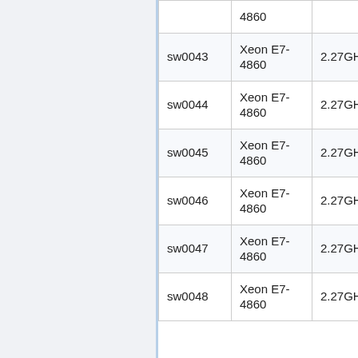|  | CPU | Clock | Cores | RAM |
| --- | --- | --- | --- | --- |
|  | Xeon E7-4860 | 2.27GHz | 40 | 8 |
| sw0043 | Xeon E7-4860 | 2.27GHz | 40 | 8 |
| sw0044 | Xeon E7-4860 | 2.27GHz | 40 | 8 |
| sw0045 | Xeon E7-4860 | 2.27GHz | 40 | 8 |
| sw0046 | Xeon E7-4860 | 2.27GHz | 40 | 8 |
| sw0047 | Xeon E7-4860 | 2.27GHz | 40 | 8 |
| sw0048 | Xeon E7-4860 | 2.27GHz | 40 | 8 |